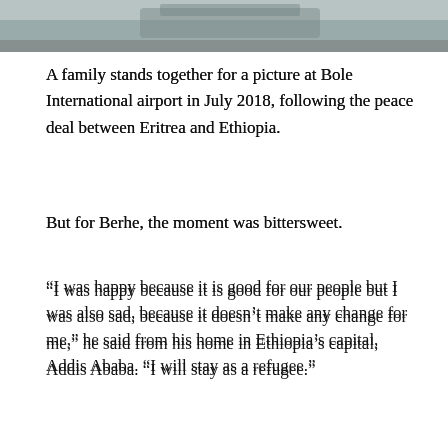[Figure (photo): Partial photo of a family at Bole International airport, cropped at top of page]
A family stands together for a picture at Bole International airport in July 2018, following the peace deal between Eritrea and Ethiopia.
But for Berhe, the moment was bittersweet.
“I was happy because it is good for our people but I was also sad, because it doesn't make any change for me,” he said from his home in Ethiopia’s capital, Addis Ababa. “I will stay as a refugee.”
Like many other Eritrean emigrants, Berhe fled the country illegally to escape national service. He fears that if he returns, he will wind up in jail, or worse. He does not have a passport and has not left Ethiopia since he arrived on the back of a cargo truck 13 years ago. His two daughters